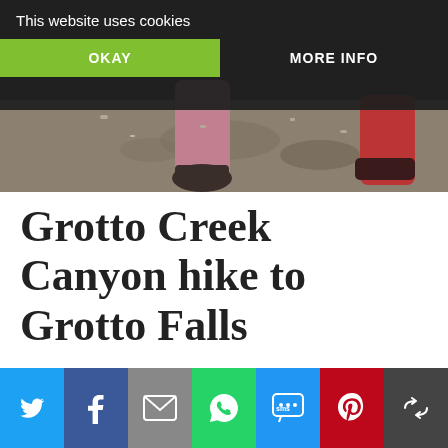[Figure (photo): Feet/boots of hikers on rocky ground, partial view of a photo cropped by cookie consent banner]
This website uses cookies
OKAY
MORE INFO
Grotto Creek Canyon hike to Grotto Falls
Grotto Creek Canyon hike follows a path through a
[Figure (infographic): Social sharing bar with icons: Twitter (blue), Facebook (dark blue), Email (grey), WhatsApp (green), SMS (blue), Pinterest (red), More (dark grey)]